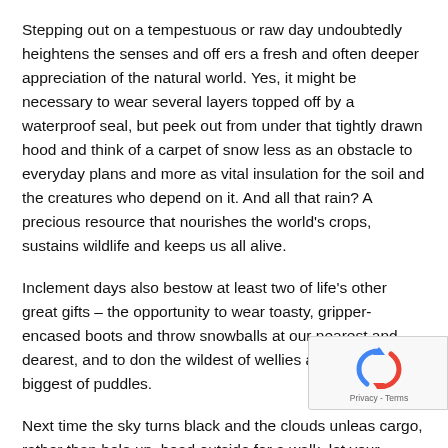Stepping out on a tempestuous or raw day undoubtedly heightens the senses and off ers a fresh and often deeper appreciation of the natural world. Yes, it might be necessary to wear several layers topped off by a waterproof seal, but peek out from under that tightly drawn hood and think of a carpet of snow less as an obstacle to everyday plans and more as vital insulation for the soil and the creatures who depend on it. And all that rain? A precious resource that nourishes the world's crops, sustains wildlife and keeps us all alive.
Inclement days also bestow at least two of life's other great gifts – the opportunity to wear toasty, gripper-encased boots and throw snowballs at our nearest and dearest, and to don the wildest of wellies and jump in the biggest of puddles.
Next time the sky turns black and the clouds unleas cargo, rather than hole up, head outside for a walk, let your
[Figure (logo): reCAPTCHA badge with circular arrow logo and Privacy - Terms text]